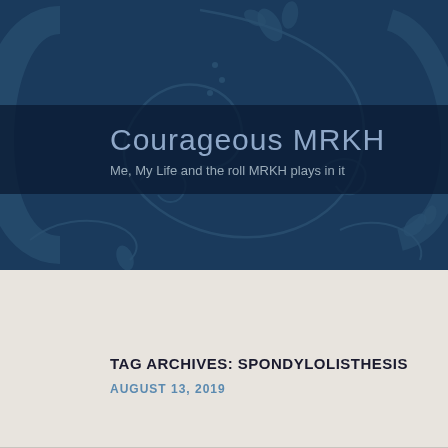[Figure (illustration): Dark blue decorative background with ornate swirl/floral patterns in darker blue tones, forming the website header background]
Courageous MRKH
Me, My Life and the roll MRKH plays in it
TAG ARCHIVES: SPONDYLOLISTHESIS
AUGUST 13, 2019